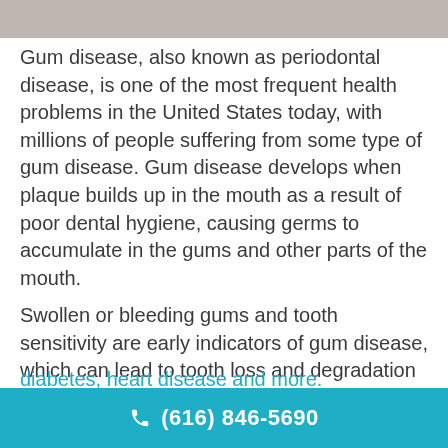[Figure (photo): Partial image of a person at the top of the page, cropped, showing clothing/body]
Gum disease, also known as periodontal disease, is one of the most frequent health problems in the United States today, with millions of people suffering from some type of gum disease. Gum disease develops when plaque builds up in the mouth as a result of poor dental hygiene, causing germs to accumulate in the gums and other parts of the mouth.
Swollen or bleeding gums and tooth sensitivity are early indicators of gum disease, which can lead to tooth loss and degradation of underlying bone structure if left untreated. Gum disease has also been connected to significant health issues like stroke,
(616) 846-5690